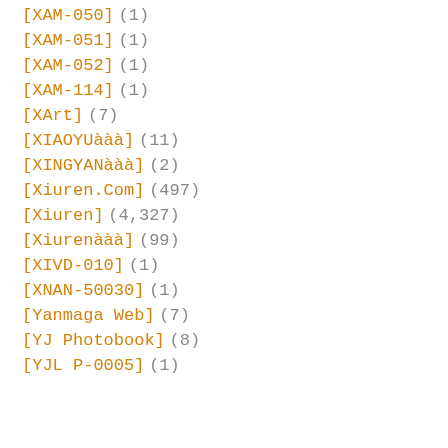[XAM-050] (1)
[XAM-051] (1)
[XAM-052] (1)
[XAM-114] (1)
[XArt] (7)
[XIAOYUxxx] (11)
[XINGYANxxx] (2)
[Xiuren.Com] (497)
[Xiuren] (4,327)
[Xiurenxxx] (99)
[XIVD-010] (1)
[XNAN-50030] (1)
[Yanmaga Web] (7)
[YJ Photobook] (8)
[YJL P-0005] (1)